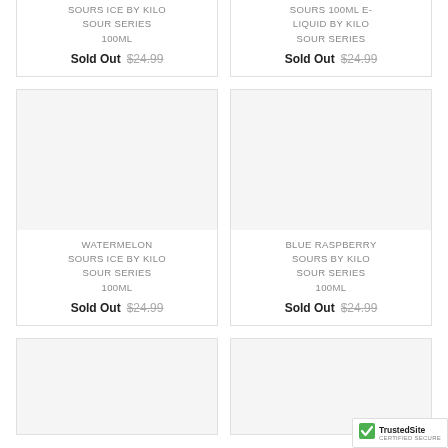SOURS ICE BY KILO SOUR SERIES 100ML
Sold Out $24.99
SOURS 100ML E-LIQUID BY KILO SOUR SERIES
Sold Out $24.99
WATERMELON SOURS ICE BY KILO SOUR SERIES 100ML
Sold Out $24.99
BLUE RASPBERRY SOURS BY KILO SOUR SERIES 100ML
Sold Out $24.99